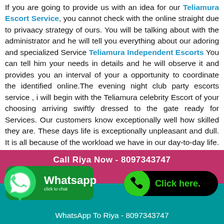If you are going to provide us with an idea for our Teliamura Escort Service, you cannot check with the online straight due to privaacy strategy of ours. You will be talking about with the administrator and he will tell you everything about our adoring and specialized Service Teliamura Independent Escorts You can tell him your needs in details and he will observe it and provides you an interval of your a opportunity to coordinate the identified online.The evening night club party escorts service , i will begin with the Teliamura celebrity Escort of your choosing arriving swiftly dressed to the gate ready for Services. Our customers know exceptionally well how skilled they are. These days life is exceptionally unpleasant and dull. It is all because of the workload we have in our day-to-day life. We can an alternative for such people who want to get rid of such situation Call Girl Service in teliamura There is no reason to think like this when you are with the hot curvy Independent Teliamura Call Girls who can make each minute loaded with joy and pleasure In
Call Riya Now - 8097343747
[Figure (infographic): WhatsApp button with phone icon and 'Whatsapp click to chat' label]
[Figure (infographic): Black rounded button with green phone icon and 'Click here.' text]
WhatsApp To Riya - 8097343747